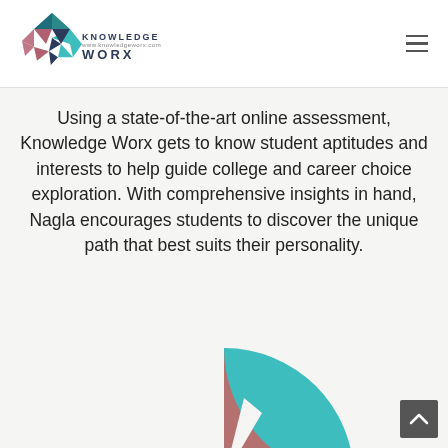[Figure (logo): Knowledge Worx logo — geometric brain made of coloured triangles in teal, pink, dark blue, with text 'KNOWLEDGE WORX' below]
Using a state-of-the-art online assessment, Knowledge Worx gets to know student aptitudes and interests to help guide college and career choice exploration. With comprehensive insights in hand, Nagla encourages students to discover the unique path that best suits their personality.
[Figure (pie-chart): Partial pie chart visible at bottom of page, showing at least two slices: a large teal/turquoise slice and a smaller mauve/dusty-rose slice]